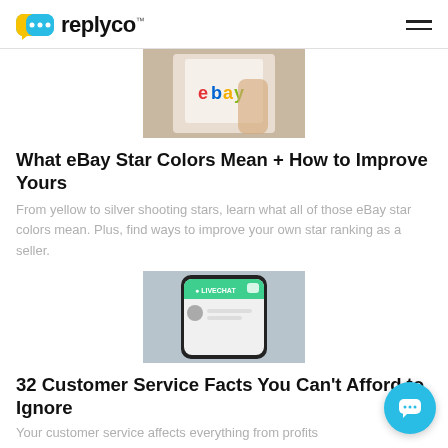replyco™
[Figure (photo): A hand holding a smartphone displaying the eBay app logo on screen]
What eBay Star Colors Mean + How to Improve Yours
From yellow to silver shooting stars, learn what all of those eBay star colors mean. Plus, find ways to improve your own star ranking as a seller.
[Figure (photo): A hand holding a smartphone showing a live chat app interface with a green header]
32 Customer Service Facts You Can't Afford to Ignore
Your customer service affects everything from profits